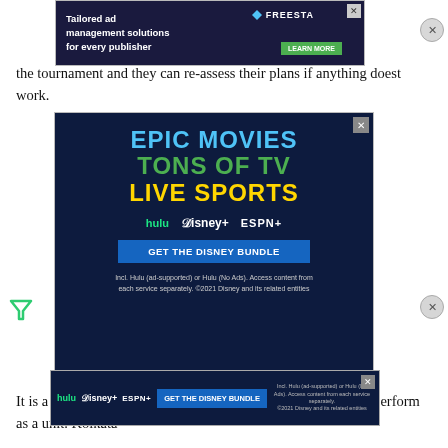the tournament and they can re-assess their plans if anything doest work.
[Figure (screenshot): Advertisement banner at top: Tailored ad management solutions for every publisher, with Freesta logo and Learn More button]
[Figure (screenshot): Disney Bundle advertisement: EPIC MOVIES TONS OF TV LIVE SPORTS, featuring Hulu, Disney+, ESPN+ logos, GET THE DISNEY BUNDLE button, fine print about ad-supported access. ©2021 Disney and its related entities]
[Figure (screenshot): Bottom sticky Disney Bundle banner: Hulu, Disney+, ESPN+ logos, GET THE DISNEY BUNDLE button with fine print]
It is a w... f time to settle down as a team and perform as a unit. Kolkata